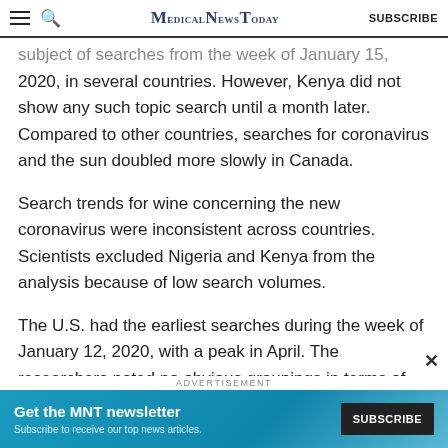MedicalNewsToday | SUBSCRIBE
subject of searches from the week of January 15, 2020, in several countries. However, Kenya did not show any such topic search until a month later. Compared to other countries, searches for coronavirus and the sun doubled more slowly in Canada.
Search trends for wine concerning the new coronavirus were inconsistent across countries. Scientists excluded Nigeria and Kenya from the analysis because of low search volumes.
The U.S. had the earliest searches during the week of January 12, 2020, with a peak in April. The researchers noted no obvious groupings in terms of peak weeks.
[Figure (other): Advertisement banner: Get the MNT newsletter. Subscribe to receive our top news articles. SUBSCRIBE button.]